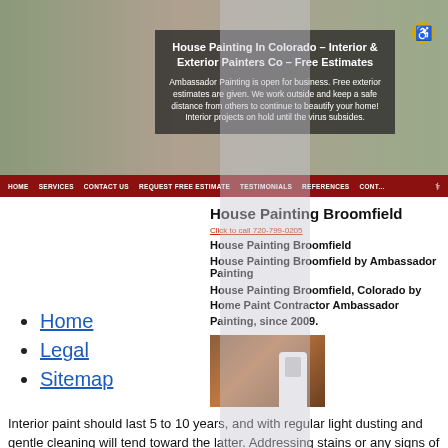[Figure (photo): Hero image of a house exterior with website navigation overlay showing title and text about Ambassador Painting]
House Painting Broomfield
Click to call 720-799-0205
House Painting Broomfield
House Painting Broomfield by Ambassador Painting
House Painting Broomfield, Colorado by Home Paint Contractor Ambassador Painting, since 2009.
[Figure (photo): Photo of a painter working on exterior house painting]
Home
Legal
Sitemap
Interior paint should last 5 to 10 years, and with regular light dusting and gentle cleaning will tend toward the latter. Addressing stains or any signs of water damage as soon as possible is key to maintaining both interior and exterior paint. If you find water damage on your exterior paint, you